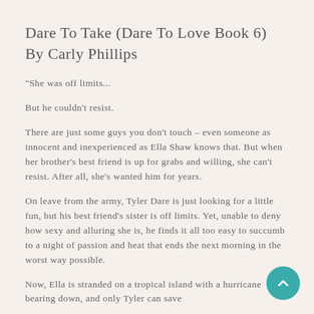Dare To Take (Dare To Love Book 6) By Carly Phillips
"She was off limits...

But he couldn't resist.

There are just some guys you don't touch – even someone as innocent and inexperienced as Ella Shaw knows that. But when her brother's best friend is up for grabs and willing, she can't resist. After all, she's wanted him for years.

On leave from the army, Tyler Dare is just looking for a little fun, but his best friend's sister is off limits. Yet, unable to deny how sexy and alluring she is, he finds it all too easy to succumb to a night of passion and heat that ends the next morning in the worst way possible.

Now, Ella is stranded on a tropical island with a hurricane bearing down, and only Tyler can save